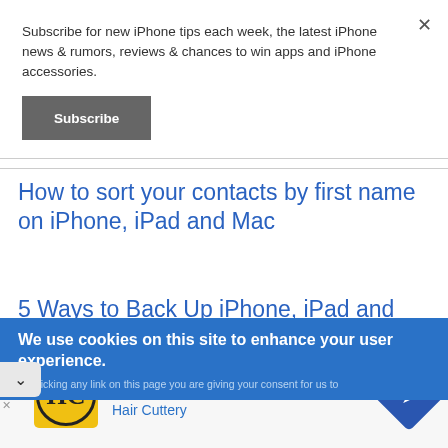Subscribe for new iPhone tips each week, the latest iPhone news & rumors, reviews & chances to win apps and iPhone accessories.
Subscribe
How to sort your contacts by first name on iPhone, iPad and Mac
5 Ways to Back Up iPhone, iPad and
We use cookies on this site to enhance your user experience.
By clicking any link on this page you are giving your consent for us to
[Figure (advertisement): Hair Cuttery ad with yellow HC logo, Walk-Ins Available text, navigation icon]
Walk-Ins Available
Hair Cuttery